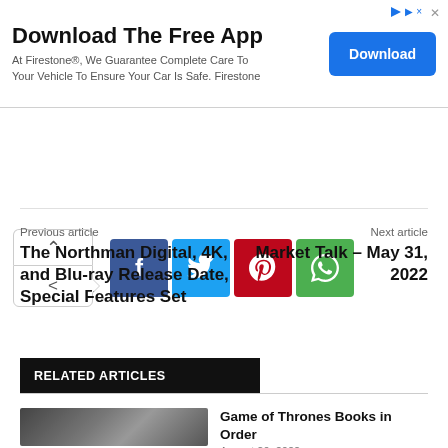[Figure (screenshot): Advertisement banner for Firestone app download with blue Download button]
[Figure (infographic): Social share buttons: up arrow, share icon, Facebook, Twitter, Pinterest, WhatsApp]
Previous article
The Northman Digital, 4K, and Blu-ray Release Date, Special Features Set
Next article
Market Talk – May 31, 2022
RELATED ARTICLES
Game of Thrones Books in Order
August 20, 2022